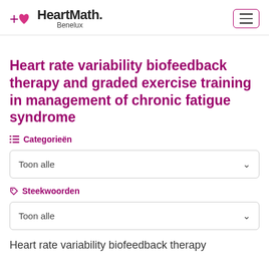HeartMath. Benelux
Heart rate variability biofeedback therapy and graded exercise training in management of chronic fatigue syndrome
≡ Categorieën
Toon alle
🏷 Steekwoorden
Toon alle
Heart rate variability biofeedback therapy